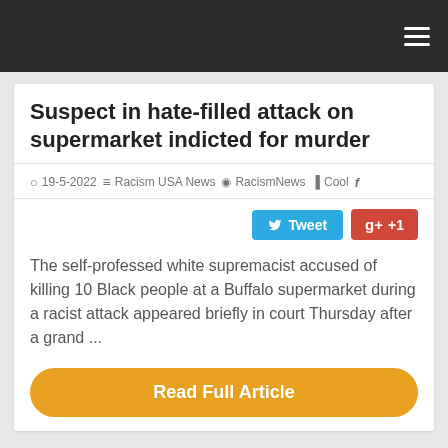Navigation bar with hamburger menu
Suspect in hate-filled attack on supermarket indicted for murder
19-5-2022  Racism USA News  RacismNews  Cool  f
Tweet  +1
The self-professed white supremacist accused of killing 10 Black people at a Buffalo supermarket during a racist attack appeared briefly in court Thursday after a grand ...
Read Full Article